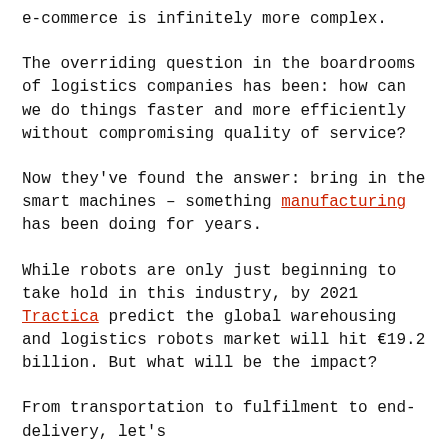e-commerce is infinitely more complex.
The overriding question in the boardrooms of logistics companies has been: how can we do things faster and more efficiently without compromising quality of service?
Now they've found the answer: bring in the smart machines – something manufacturing has been doing for years.
While robots are only just beginning to take hold in this industry, by 2021 Tractica predict the global warehousing and logistics robots market will hit €19.2 billion. But what will be the impact?
From transportation to fulfilment to end-delivery, let's